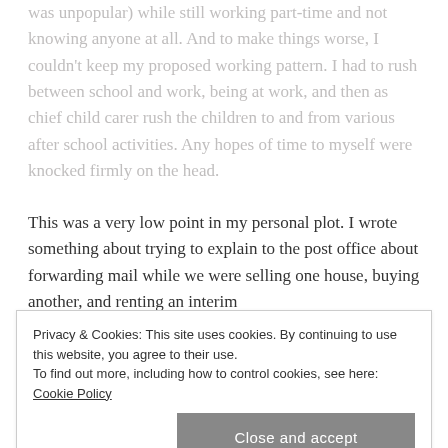was unpopular) while still working part-time and not knowing anyone at all. And to make things worse, I couldn't keep my proposed working pattern. I had to rush between school and work, being at work, and then as chief child carer rush the children to and from various after school activities. Any hopes of time to myself were knocked firmly on the head.
This was a very low point in my personal plot. I wrote something about trying to explain to the post office about forwarding mail while we were selling one house, buying another, and renting an interim
Privacy & Cookies: This site uses cookies. By continuing to use this website, you agree to their use.
To find out more, including how to control cookies, see here: Cookie Policy
Close and accept
had. At some point, I wrote down in the third person